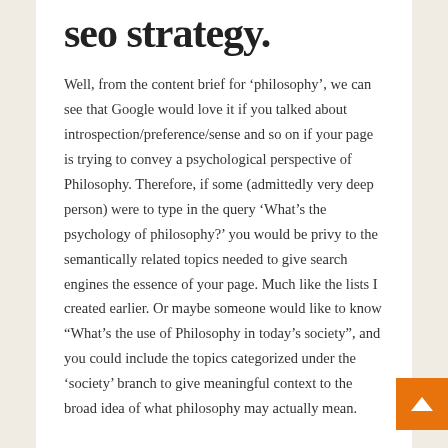seo strategy.
Well, from the content brief for 'philosophy', we can see that Google would love it if you talked about introspection/preference/sense and so on if your page is trying to convey a psychological perspective of Philosophy. Therefore, if some (admittedly very deep person) were to type in the query 'What's the psychology of philosophy?' you would be privy to the semantically related topics needed to give search engines the essence of your page. Much like the lists I created earlier. Or maybe someone would like to know "What's the use of Philosophy in today's society", and you could include the topics categorized under the 'society' branch to give meaningful context to the broad idea of what philosophy may actually mean.